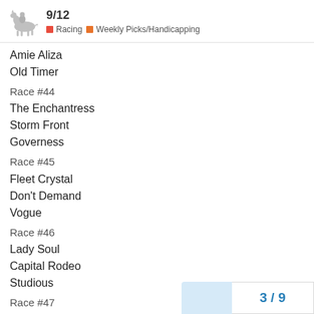9/12 · Racing · Weekly Picks/Handicapping
Amie Aliza
Old Timer
Race #44
The Enchantress
Storm Front
Governess
Race #45
Fleet Crystal
Don't Demand
Vogue
Race #46
Lady Soul
Capital Rodeo
Studious
Race #47
Lemon Of A Tiger
3 / 9